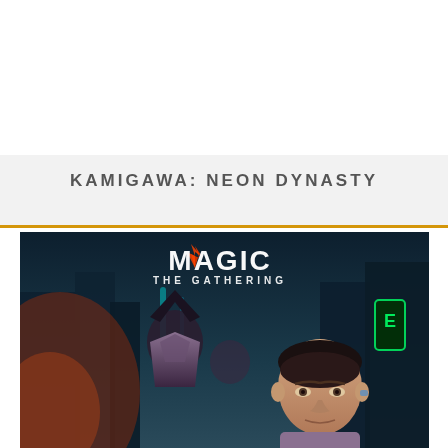KAMIGAWA: NEON DYNASTY
[Figure (illustration): Magic: The Gathering Kamigawa Neon Dynasty promotional artwork showing two characters in a futuristic cyberpunk city environment with neon lights. The Magic: The Gathering logo with the planeswalker symbol is visible at the top of the image.]